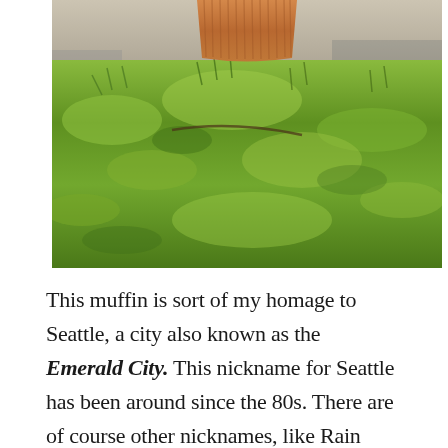[Figure (photo): A cupcake in an orange/brown fluted paper wrapper sits on a stone surface surrounded by bright green moss. The photo is cropped showing mostly the lower portion of the cupcake and the vivid green moss below and around it.]
This muffin is sort of my homage to Seattle, a city also known as the Emerald City. This nickname for Seattle has been around since the 80s. There are of course other nicknames, like Rain City, Queen City, and a few others, but this one seems to be the most popular. It was the result of a